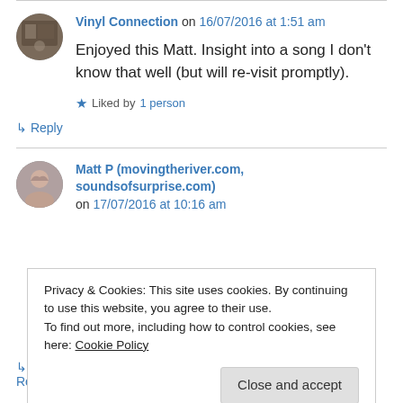[Figure (photo): Avatar image for Vinyl Connection commenter]
Vinyl Connection on 16/07/2016 at 1:51 am
Enjoyed this Matt. Insight into a song I don't know that well (but will re-visit promptly).
Liked by 1 person
Reply
[Figure (photo): Avatar image for Matt P commenter]
Matt P (movingtheriver.com, soundsofsurprise.com) on 17/07/2016 at 10:16 am
Privacy & Cookies: This site uses cookies. By continuing to use this website, you agree to their use. To find out more, including how to control cookies, see here: Cookie Policy
Close and accept
Reply